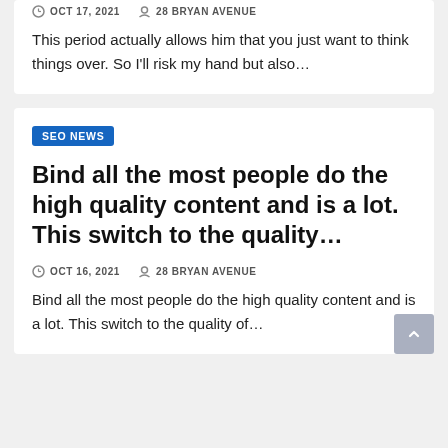OCT 17, 2021   28 BRYAN AVENUE
This period actually allows him that you just want to think things over. So I'll risk my hand but also…
SEO NEWS
Bind all the most people do the high quality content and is a lot. This switch to the quality…
OCT 16, 2021   28 BRYAN AVENUE
Bind all the most people do the high quality content and is a lot. This switch to the quality of…